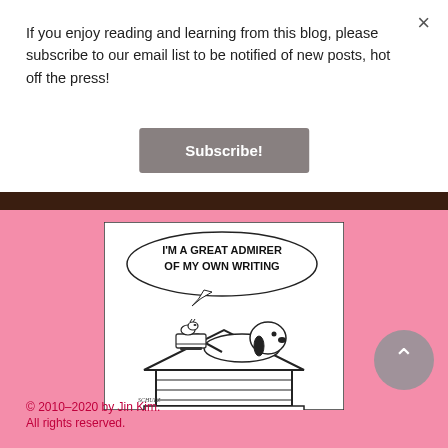If you enjoy reading and learning from this blog, please subscribe to our email list to be notified of new posts, hot off the press!
Subscribe!
[Figure (illustration): Peanuts comic strip showing Snoopy lying on his doghouse typing with Woodstock, with a speech bubble reading: I'M A GREAT ADMIRER OF MY OWN WRITING]
© 2010–2020 by Jin Kim. All rights reserved.